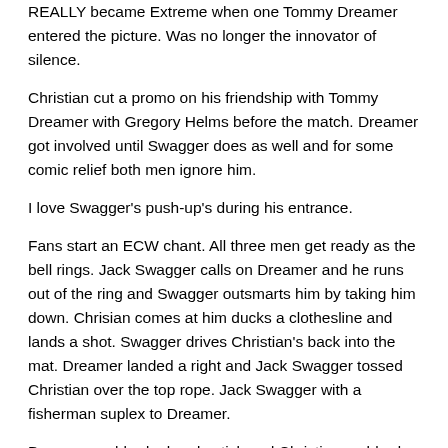REALLY became Extreme when one Tommy Dreamer entered the picture. Was no longer the innovator of silence.
Christian cut a promo on his friendship with Tommy Dreamer with Gregory Helms before the match. Dreamer got involved until Swagger does as well and for some comic relief both men ignore him.
I love Swagger's push-up's during his entrance.
Fans start an ECW chant. All three men get ready as the bell rings. Jack Swagger calls on Dreamer and he runs out of the ring and Swagger outsmarts him by taking him down. Chrisian comes at him ducks a clothesline and lands a shot. Swagger drives Christian's back into the mat. Dreamer landed a right and Jack Swagger tossed Christian over the top rope. Jack Swagger with a fisherman suplex to Dreamer.
Dreamer grabbed a kendo stick and Christian grabbed a trashcan lid. Jack Swagger stood in the middle of the ring